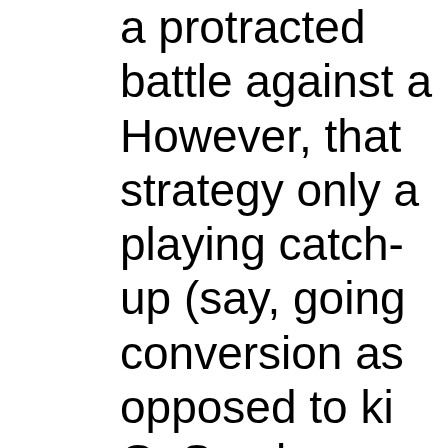a protracted battle against a However, that strategy only a playing catch-up (say, going conversion as opposed to ki GaSo players were out of ga had broken his ankle. In ove a lead on your opponent, yo Southern didn't and lost. All kick a field goal on their first they would have won. The fa the middle for a touchdown Georgia Southern decision. strate...